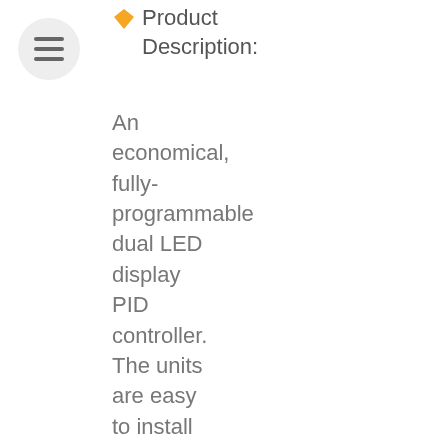Product Description:
An economical, fully-programmable dual LED display PID controller. The units are easy to install and configure via the front fascia. Universal input as standard makes this a very versatile